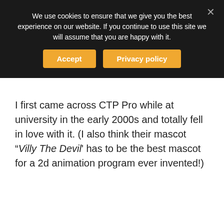We use cookies to ensure that we give you the best experience on our website. If you continue to use this site we will assume that you are happy with it.
I first came across CTP Pro while at university in the early 2000s and totally fell in love with it. (I also think their mascot " Villy The Devil' has to be the best mascot for a 2d animation program ever invented!)